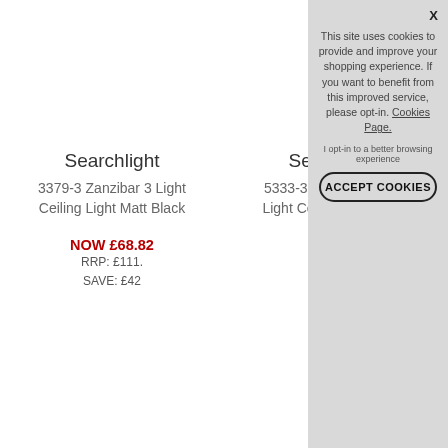Searchlight
3379-3 Zanzibar 3 Light Ceiling Light Matt Black
Searchlight
5333-3SS Fisherman 3 Light Ceiling Light Satin Silver
NOW £68.82
RRP: £111.
SAVE: £42
TOP
This site uses cookies to provide and improve your shopping experience. If you want to benefit from this improved service, please opt-in. Cookies Page. I opt-in to a better browsing experience ACCEPT COOKIES